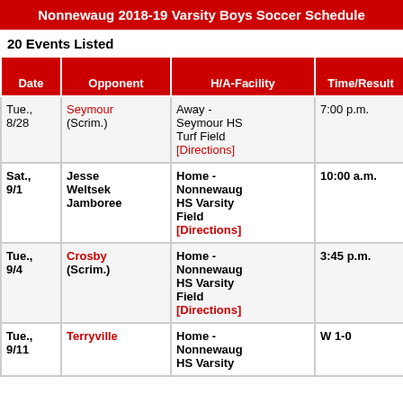Nonnewaug 2018-19 Varsity Boys Soccer Schedule
20 Events Listed
| Date | Opponent | H/A-Facility | Time/Result | Bus Time | N |
| --- | --- | --- | --- | --- | --- |
| Tue., 8/28 | Seymour (Scrim.) | Away - Seymour HS Turf Field [Directions] | 7:00 p.m. |  |  |
| Sat., 9/1 | Jesse Weltsek Jamboree | Home - Nonnewaug HS Varsity Field [Directions] | 10:00 a.m. |  |  |
| Tue., 9/4 | Crosby (Scrim.) | Home - Nonnewaug HS Varsity Field [Directions] | 3:45 p.m. |  |  |
| Tue., 9/11 | Terryville | Home - Nonnewaug HS Varsity Field [Directions] | W 1-0 |  |  |